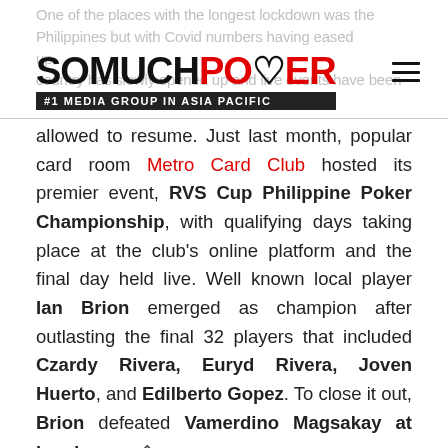SoMuchPoker — #1 Media Group in Asia Pacific
One of the places with the longest lockdown was the Philippines but with Covid numbers having eased up the country has slowly opened up and live events have been allowed to resume. Just last month, popular card room Metro Card Club hosted its premier event, RVS Cup Philippine Poker Championship, with qualifying days taking place at the club's online platform and the final day held live. Well known local player Ian Brion emerged as champion after outlasting the final 32 players that included Czardy Rivera, Euryd Rivera, Joven Huerto, and Edilberto Gopez. To close it out, Brion defeated Vamerdino Magsakay at heads up.
This month, PokerStars LIVE Manila steps up to the plate with a Special Tournament, its first in nearly two years, to be held at Okada Manila. Games run from